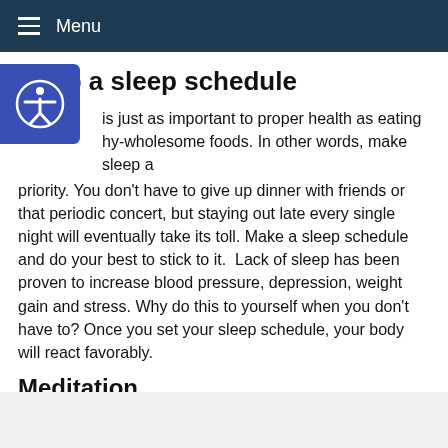Menu
Keep a sleep schedule
is just as important to proper health as eating hy-wholesome foods. In other words, make sleep a priority. You don't have to give up dinner with friends or that periodic concert, but staying out late every single night will eventually take its toll. Make a sleep schedule and do your best to stick to it.  Lack of sleep has been proven to increase blood pressure, depression, weight gain and stress. Why do this to yourself when you don't have to? Once you set your sleep schedule, your body will react favorably.
Meditation
3523158305